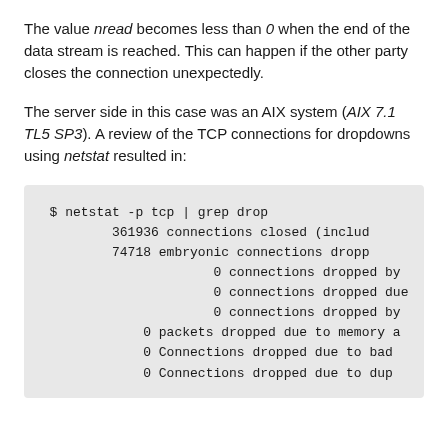The value nread becomes less than 0 when the end of the data stream is reached. This can happen if the other party closes the connection unexpectedly.
The server side in this case was an AIX system (AIX 7.1 TL5 SP3). A review of the TCP connections for dropdowns using netstat resulted in:
$ netstat -p tcp | grep drop
        361936 connections closed (inclu
        74718 embryonic connections dropp
                     0 connections dropped by
                     0 connections dropped due
                     0 connections dropped by
              0 packets dropped due to memory a
              0 Connections dropped due to bad
              0 Connections dropped due to dup